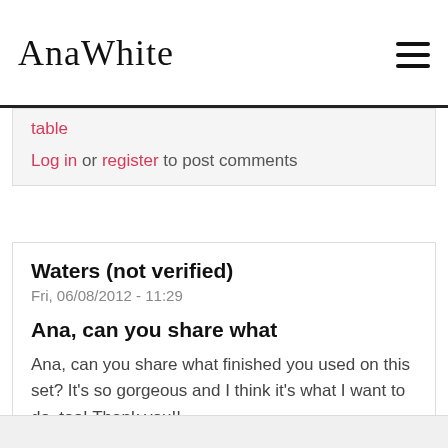Ana White
table

Log in or register to post comments
Waters (not verified)
Fri, 06/08/2012 - 11:29

Ana, can you share what

Ana, can you share what finished you used on this set? It's so gorgeous and I think it's what I want to do, too! Thank you!!

Log in or register to post comments